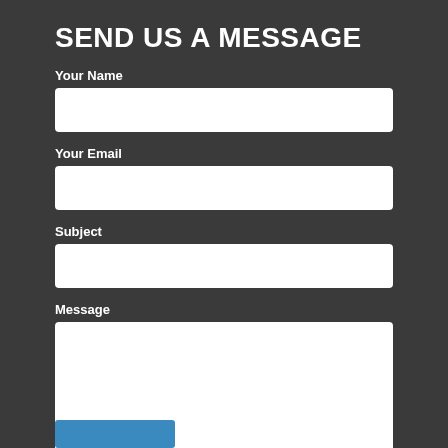SEND US A MESSAGE
Your Name
[Figure (other): Text input field for Your Name]
Your Email
[Figure (other): Text input field for Your Email]
Subject
[Figure (other): Text input field for Subject]
Message
[Figure (other): Textarea input field for Message]
[Figure (other): Blue submit button at bottom]